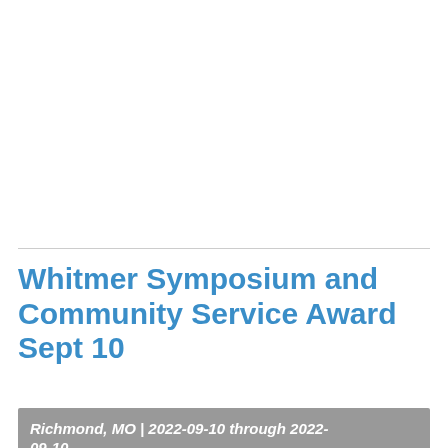Whitmer Symposium and Community Service Award Sept 10
Richmond, MO | 2022-09-10 through 2022-09-10